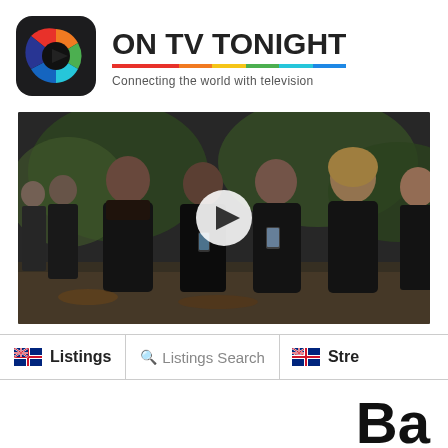[Figure (logo): On TV Tonight app logo — rounded square with colorful play button icon (red, orange, green, blue segments with dark play arrow)]
ON TV TONIGHT
Connecting the world with television
[Figure (screenshot): Video thumbnail showing four young women dressed in black looking at phones, outdoors. A white circular play button overlay is centered on the image.]
Listings
Listings Search
Stre
Ba